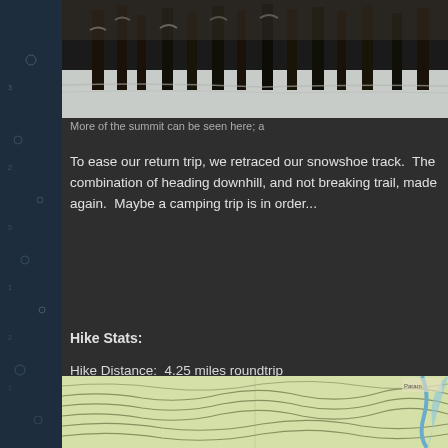[Figure (photo): Snowy winter forest scene at a mountain summit, trees covered in snow]
More of the summit can be seen here; a
To ease our return trip, we retraced our snowshoe track.  The combination of heading downhill, and not breaking trail, made again.  Maybe a camping trip is in order...
Hike Stats:
Hike Distance:  4.25 miles roundtrip
Hike Time: 4 hours, including stops
Total Vertical Gain; ~1600'
[Figure (map): Topographic map showing trail contour lines in green and yellow tones with blue water features]